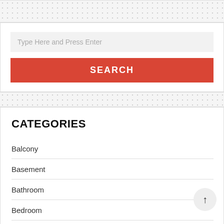[Figure (screenshot): Dotted/dashed top band background area]
[Figure (screenshot): Search widget with text input 'Type Here and Press Enter' and red SEARCH button]
[Figure (screenshot): Dotted/dashed middle band background area]
CATEGORIES
Balcony
Basement
Bathroom
Bedroom
Closet